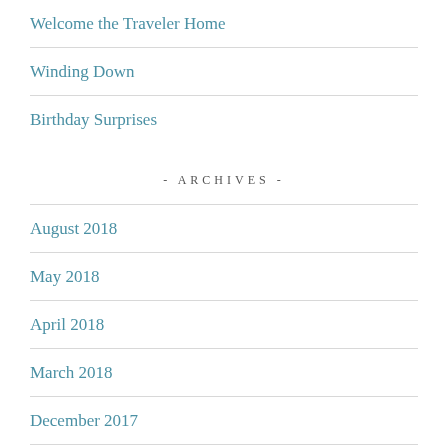Welcome the Traveler Home
Winding Down
Birthday Surprises
- ARCHIVES -
August 2018
May 2018
April 2018
March 2018
December 2017